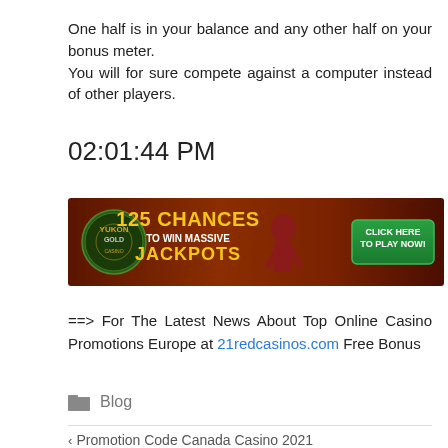One half is in your balance and any other half on your bonus meter.
You will for sure compete against a computer instead of other players.
02:01:44 PM
[Figure (infographic): Casino advertisement banner: Yukon Gold Casino logo on left with text '125 CHANCES TO WIN MASSIVE JACKPOTS' in yellow and white, woman figure in center, green 'CLICK HERE TO PLAY NOW!' button on right, dark reddish-brown background.]
==> For The Latest News About Top Online Casino Promotions Europe at 21redcasinos.com Free Bonus
Blog
Promotion Code Canada Casino 2021